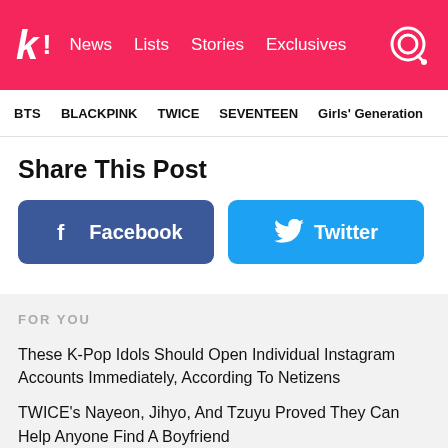k! News Lists Stories Exclusives
BTS BLACKPINK TWICE SEVENTEEN Girls' Generation
Share This Post
[Figure (infographic): Facebook and Twitter share buttons]
FOR YOU
These K-Pop Idols Should Open Individual Instagram Accounts Immediately, According To Netizens
TWICE's Nayeon, Jihyo, And Tzuyu Proved They Can Help Anyone Find A Boyfriend